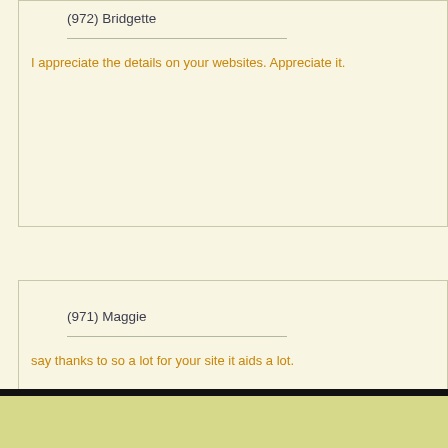(972) Bridgette
I appreciate the details on your websites. Appreciate it.
(971) Maggie
say thanks to so a lot for your site it aids a lot.
< >